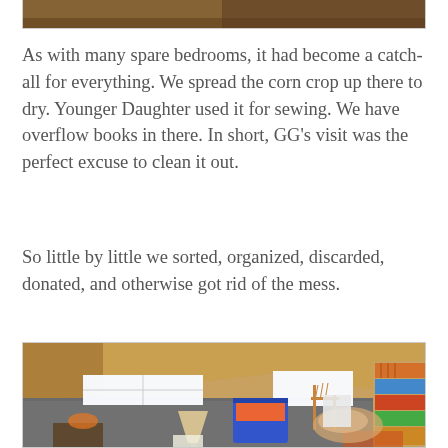[Figure (photo): Bottom portion of a bedroom/attic photo, showing partial view of a room with wooden walls]
As with many spare bedrooms, it had become a catch-all for everything. We spread the corn crop up there to dry. Younger Daughter used it for sewing. We have overflow books in there. In short, GG's visit was the perfect excuse to clean it out.
So little by little we sorted, organized, discarded, donated, and otherwise got rid of the mess.
[Figure (photo): Cluttered attic room with sloped wooden ceiling, windows letting in light, scattered items on floor including a blue bin with orange contents, a lampshade, a wooden chair, piles of fabric/pillows, and a bookshelf on the right filled with books.]